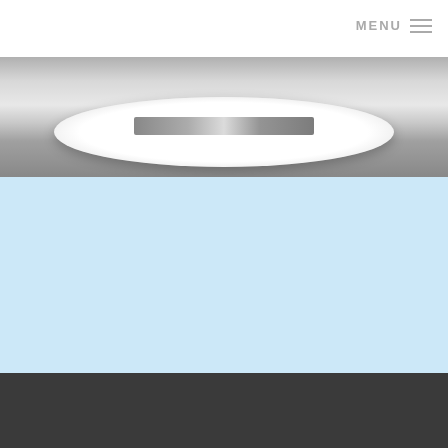MENU
[Figure (photo): Black and white photograph of a round table with items on it, viewed from above/angle, partial view cropped at top]